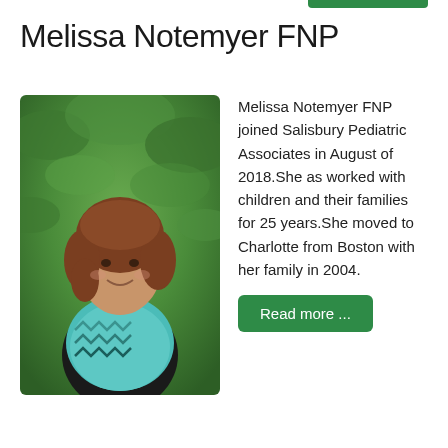Melissa Notemyer FNP
[Figure (photo): Headshot photo of Melissa Notemyer FNP, a woman with shoulder-length auburn hair wearing a teal/blue patterned top, smiling outdoors with green leafy bushes in the background.]
Melissa Notemyer FNP joined Salisbury Pediatric Associates in August of 2018.She as worked with children and their families for 25 years.She moved to Charlotte from Boston with her family in 2004.
Read more ...